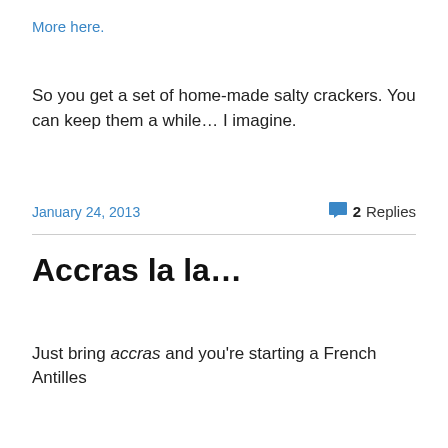More here.
So you get a set of home-made salty crackers. You can keep them a while… I imagine.
January 24, 2013
2 Replies
Accras la la...
Just bring accras and you're starting a French Antilles